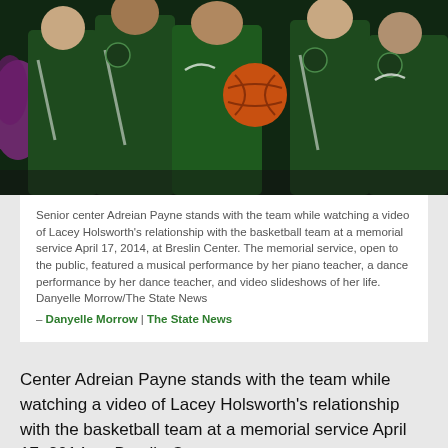[Figure (photo): Michigan State basketball team members in green Nike jackets standing together; one person holds an orange basketball; purple pom-poms visible at the left edge]
Senior center Adreian Payne stands with the team while watching a video of Lacey Holsworth's relationship with the basketball team at a memorial service April 17, 2014, at Breslin Center. The memorial service, open to the public, featured a musical performance by her piano teacher, a dance performance by her dance teacher, and video slideshows of her life. Danyelle Morrow/The State News
— Danyelle Morrow | The State News
Center Adreian Payne stands with the team while watching a video of Lacey Holsworth's relationship with the basketball team at a memorial service April 17, 2014, at Breslin Center.